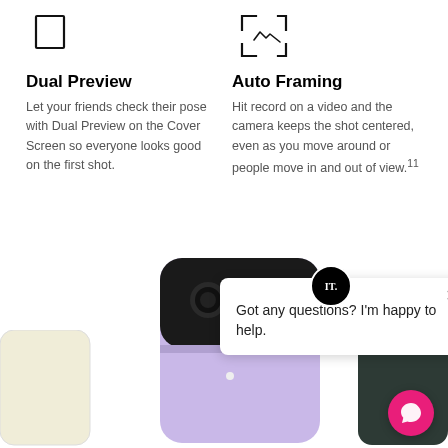[Figure (illustration): Icon of a phone/screen square outline for Dual Preview feature]
[Figure (illustration): Icon of a framing bracket/viewfinder outline for Auto Framing feature]
Dual Preview
Let your friends check their pose with Dual Preview on the Cover Screen so everyone looks good on the first shot.
Auto Framing
Hit record on a video and the camera keeps the shot centered, even as you move around or people move in and out of view.¹¹
[Figure (photo): Samsung Galaxy Z Flip3 in lavender/purple color, folded closed, showing dual camera and cover screen. Below it, a cream/beige colored phone on the left and a dark green phone case on the right are partially visible.]
Got any questions? I'm happy to help.